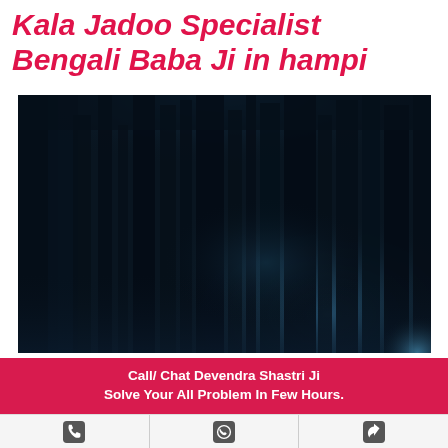Kala Jadoo Specialist Bengali Baba Ji in hampi
[Figure (photo): Dark misty forest at night with tall trees and blue atmospheric lighting]
Call/ Chat Devendra Shastri Ji
Solve Your All Problem In Few Hours.
[Figure (infographic): Icons bar with phone, WhatsApp, and share icons on light background]